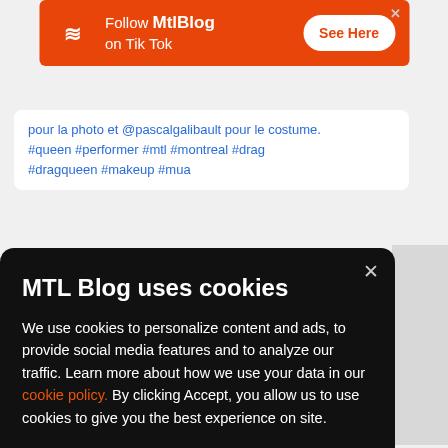[Figure (screenshot): Orange ad banner: MTLBlog logo (white Z) with text 'Follow MtlBlog on Tik Tok' and white 'See Here' button]
pour la photo et @pascalgalibault pour le costume. #queen #performer #mtl #montreal #drag #dragqueen #makeup #mua
MTL Blog uses cookies
We use cookies to personalize content and ads, to provide social media features and to analyze our traffic. Learn more about how we use your data in our cookie policy. By clicking Accept, you allow us to use cookies to give you the best experience on site.
Accept